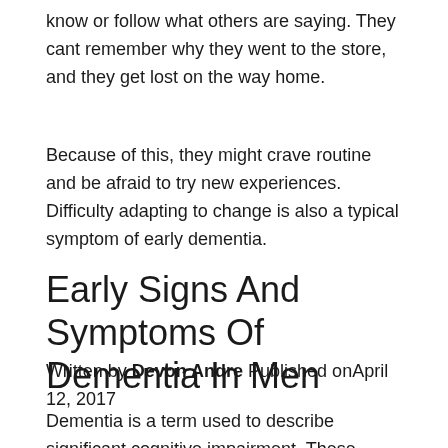know or follow what others are saying. They cant remember why they went to the store, and they get lost on the way home.
Because of this, they might crave routine and be afraid to try new experiences. Difficulty adapting to change is also a typical symptom of early dementia.
Early Signs And Symptoms Of Dementia In Men
Written by Devon Andre Published onApril 12, 2017
Dementia is a term used to describe significant cognitive impairment. These impairments are often seen in two or more critical brain functions such as memory, language,